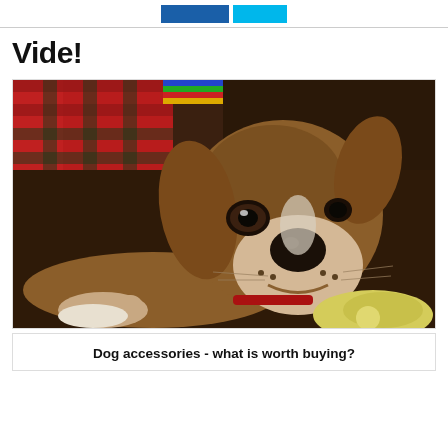[Figure (other): Top navigation bar with dark blue and cyan buttons]
Vide!
[Figure (photo): A beagle dog lying down on a dark brown surface, looking at the camera with soulful eyes, holding a yellow toy. A red and blue plaid blanket is visible in the background.]
Dog accessories - what is worth buying?